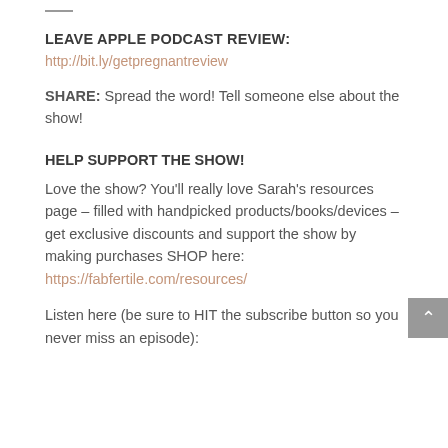LEAVE APPLE PODCAST REVIEW:
http://bit.ly/getpregnantreview
SHARE: Spread the word! Tell someone else about the show!
HELP SUPPORT THE SHOW!
Love the show? You'll really love Sarah's resources page – filled with handpicked products/books/devices – get exclusive discounts and support the show by making purchases SHOP here: https://fabfertile.com/resources/
Listen here (be sure to HIT the subscribe button so you never miss an episode):